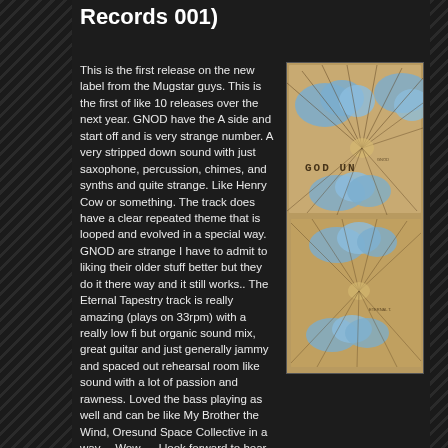Records 001)
This is the first release on the new label from the Mugstar guys. This is the first of like 10 releases over the next year. GNOD have the A side and start off and is very strange number. A very stripped down sound with just saxophone, percussion, chimes, and synths and quite strange. Like Henry Cow or something. The track does have a clear repeated theme that is looped and evolved in a special way. GNOD are strange I have to admit to liking their older stuff better but they do it there way and it still works.. The Eternal Tapestry track is really amazing (plays on 33rpm) with a really low fi but organic sound mix, great guitar and just generally jammy and spaced out rehearsal room like sound with a lot of passion and rawness. Loved the bass playing as well and can be like My Brother the Wind, Oresund Space Collective in a way… Wow…. I look forward to hear the next bands in this series..
[Figure (photo): Album cover photo showing a kraft/cardboard sleeve with artistic cloud and ray design, text reading GOD UN visible, stacked records]